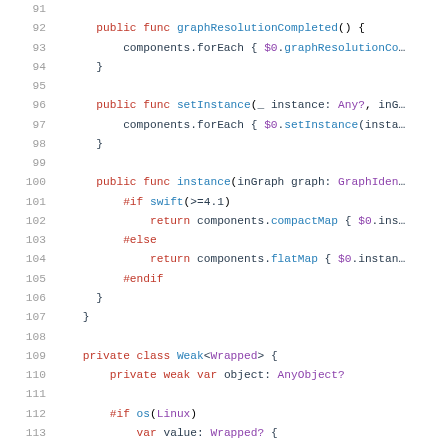[Figure (screenshot): Swift source code listing, lines 91-113, showing class methods graphResolutionCompleted, setInstance, instance, and beginning of private class Weak<Wrapped>]